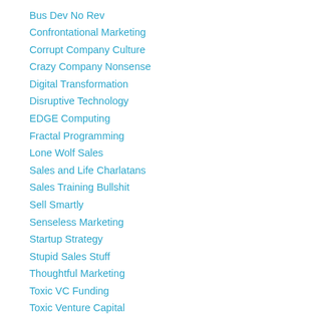Bus Dev No Rev
Confrontational Marketing
Corrupt Company Culture
Crazy Company Nonsense
Digital Transformation
Disruptive Technology
EDGE Computing
Fractal Programming
Lone Wolf Sales
Sales and Life Charlatans
Sales Training Bullshit
Sell Smartly
Senseless Marketing
Startup Strategy
Stupid Sales Stuff
Thoughtful Marketing
Toxic VC Funding
Toxic Venture Capital